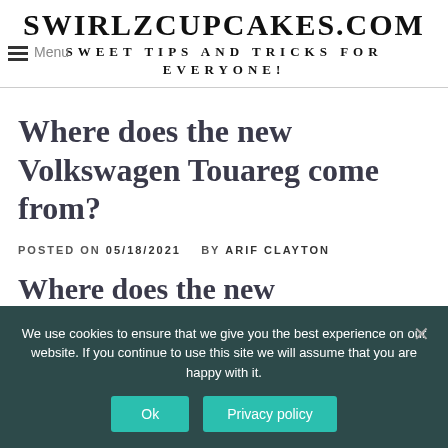SWIRLZCUPCAKES.COM
SWEET TIPS AND TRICKS FOR EVERYONE!
Menu
Where does the new Volkswagen Touareg come from?
POSTED ON 05/18/2021   BY ARIF CLAYTON
Where does the new
We use cookies to ensure that we give you the best experience on our website. If you continue to use this site we will assume that you are happy with it.
Ok  Privacy policy